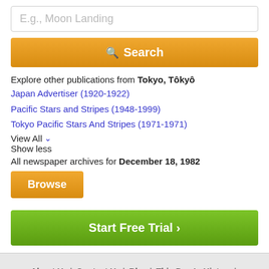E.g., Moon Landing
Search
Explore other publications from Tokyo, Tôkyô
Japan Advertiser (1920-1922)
Pacific Stars and Stripes (1948-1999)
Tokyo Pacific Stars And Stripes (1971-1971)
View All
Show less
All newspaper archives for December 18, 1982
Browse
Start Free Trial ›
About Us | Contact Us | Blog | This Day In History | Free Newspaper Archives | Terms | Privacy | Copyright | Your California Privacy Rights | Sitemap
© Copyright 2022 NewspaperARCHIVE.com. All rights reserved.